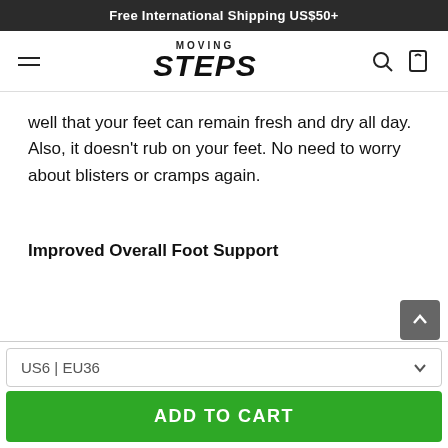Free International Shipping US$50+
[Figure (logo): Moving Steps logo with hamburger menu, search icon, and cart icon in navigation bar]
well that your feet can remain fresh and dry all day. Also, it doesn't rub on your feet. No need to worry about blisters or cramps again.
Improved Overall Foot Support
US6 | EU36
ADD TO CART